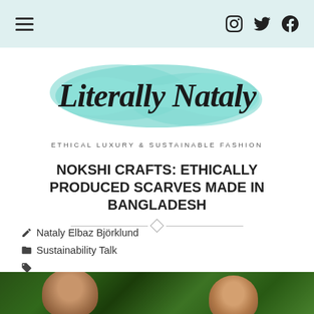[Navigation bar with hamburger menu and social icons: Instagram, Twitter, Facebook]
[Figure (logo): Literally Nataly blog logo: cursive script text on teal/mint brush stroke background]
ETHICAL LUXURY & SUSTAINABLE FASHION
NOKSHI CRAFTS: ETHICALLY PRODUCED SCARVES MADE IN BANGLADESH
Nataly Elbaz Björklund
Sustainability Talk
art, blog, blogger, ecofashion, Fashion, handmade, kickstarter, life, Lifestyle, love, photos, style, sustainability
6 Comments
[Figure (photo): Bottom portion of a photo showing two people outdoors with green foliage background]